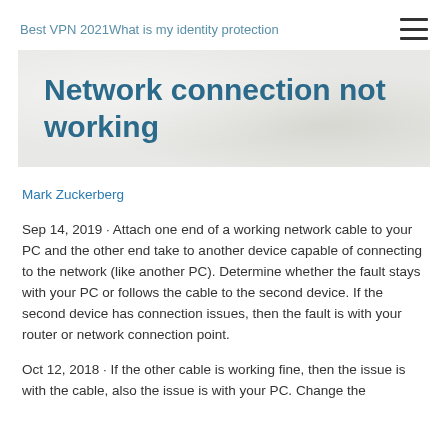Best VPN 2021What is my identity protection
Network connection not working
Mark Zuckerberg
Sep 14, 2019 · Attach one end of a working network cable to your PC and the other end take to another device capable of connecting to the network (like another PC). Determine whether the fault stays with your PC or follows the cable to the second device. If the second device has connection issues, then the fault is with your router or network connection point.
Oct 12, 2018 · If the other cable is working fine, then the issue is with the cable, also the issue is with your PC. Change the